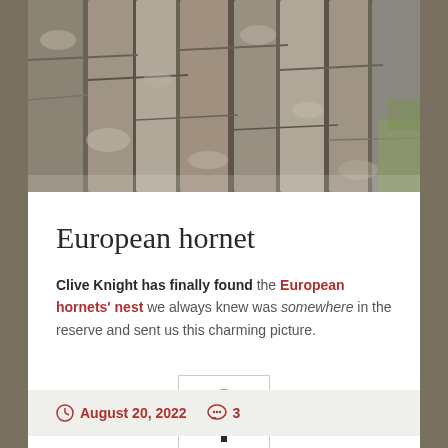[Figure (photo): Close-up photograph of rough tree bark with rocky texture, gray and brown tones, some green foliage visible at right edge]
European hornet
Clive Knight has finally found the European hornets' nest we always knew was somewhere in the reserve and sent us this charming picture.
[Figure (illustration): Small black and white illustration of a tree with full canopy, inside a bordered box]
August 20, 2022   3